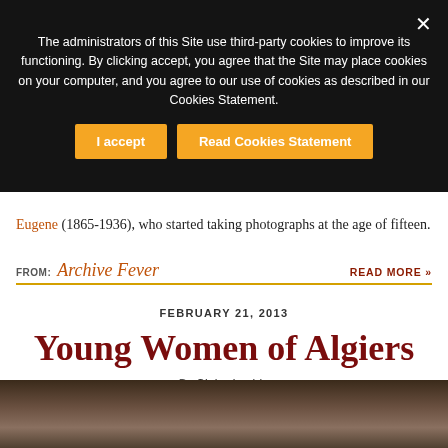[Figure (screenshot): Cookie consent overlay with dark background, message text, 'I accept' and 'Read Cookies Statement' orange buttons, and a close X button]
Eugene (1865-1936), who started taking photographs at the age of fifteen.
FROM: Archive Fever    READ MORE »
FEBRUARY 21, 2013
Young Women of Algiers
BY Claire Lucido
[Figure (photo): Partial view of a sepia/dark toned historical photograph at the bottom of the page]